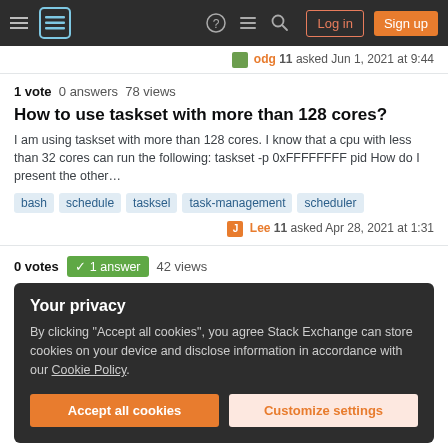Stack Exchange navigation bar with hamburger menu, logo, help, chat, search icons, Log in and Sign up buttons
odg 11 asked Jun 1, 2021 at 9:44
1 vote  0 answers  78 views
How to use taskset with more than 128 cores?
I am using taskset with more than 128 cores. I know that a cpu with less than 32 cores can run the following: taskset -p 0xFFFFFFFF pid How do I present the other…
bash
schedule
tasksel
task-management
scheduler
Lee 11 asked Apr 28, 2021 at 1:31
0 votes  1 answer  42 views
Your privacy
By clicking "Accept all cookies", you agree Stack Exchange can store cookies on your device and disclose information in accordance with our Cookie Policy.
Accept all cookies
Customize settings
1 vote  1 answer  289 views